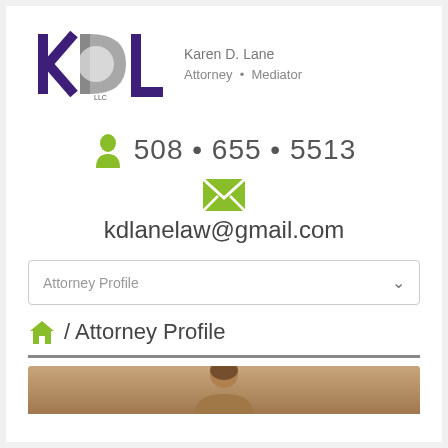[Figure (logo): KDL LLC law firm logo with purple K, gray D, dark purple L letters, and text 'Karen D. Lane Attorney • Mediator']
508 • 655 • 5513
kdlanelaw@gmail.com
Attorney Profile
/ Attorney Profile